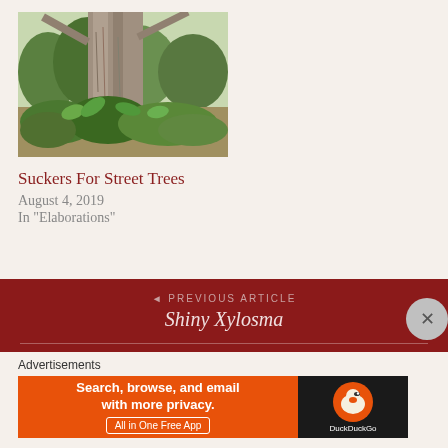[Figure (photo): Photograph of a large tree trunk with green leafy plants (suckers) growing around its base, in an outdoor setting with other trees visible in the background.]
Suckers For Street Trees
August 4, 2019
In "Elaborations"
Posted in Elaborations
◄ PREVIOUS ARTICLE
Shiny Xylosma
Advertisements
[Figure (screenshot): DuckDuckGo advertisement banner: orange left section with text 'Search, browse, and email with more privacy. All in One Free App', and dark right section with DuckDuckGo duck logo.]